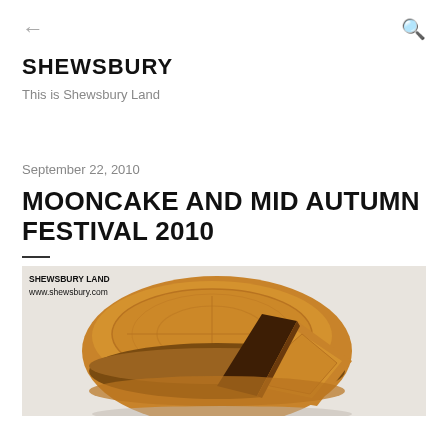← (back) Q (search)
SHEWSBURY
This is Shewsbury Land
September 22, 2010
MOONCAKE AND MID AUTUMN FESTIVAL 2010
[Figure (photo): A mooncake with a slice cut out, showing decorative embossed top and dark filling inside, on a white background. Watermark reads: SHEWSBURY LAND www.shewsbury.com]